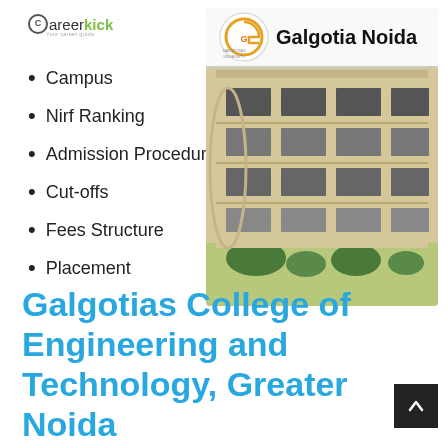[Figure (logo): Careerkick logo with green 'kick' text]
[Figure (photo): Galgotia University building exterior with 'Galgotia Noida' banner and Galgotias University logo]
Campus
Nirf Ranking
Admission Procedure
Cut-offs
Fees Structure
Placement
Galgotias College of Engineering and Technology, Greater Noida